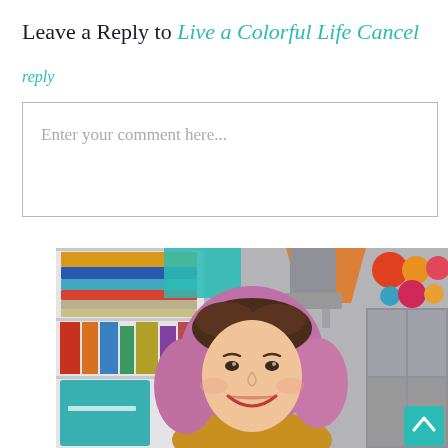Leave a Reply to Live a Colorful Life Cancel reply
Enter your comment here...
[Figure (photo): A woman with pink and dark ombre short wavy hair smiling, standing in front of a colorful craft/sewing room with shelves of fabric, books, and a teal vintage-style box. A teal scroll-to-top button is visible in the bottom right corner.]